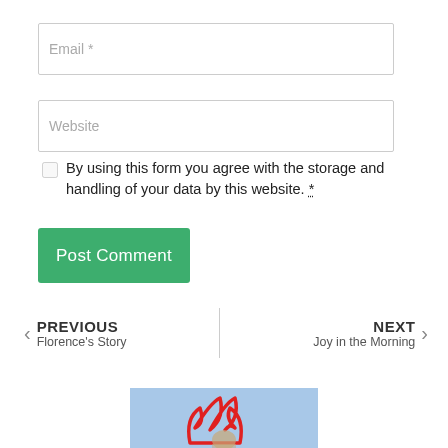Email *
Website
By using this form you agree with the storage and handling of your data by this website. *
Post Comment
PREVIOUS Florence's Story
NEXT Joy in the Morning
[Figure (photo): Partial photo showing a person with red logo/graphic overlay, cropped at bottom of page]